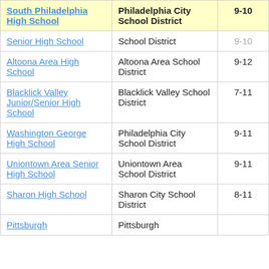| School | District | Grades | Score |
| --- | --- | --- | --- |
| South Philadelphia High School | Philadelphia City School District | 9-10 | -0.4 |
| Senior High School | School District | 9-10 | 7.7 |
| Altoona Area High School | Altoona Area School District | 9-12 | 2.9 |
| Blacklick Valley Junior/Senior High School | Blacklick Valley School District | 7-11 | 7.6 |
| Washington George High School | Philadelphia City School District | 9-11 | 5.3 |
| Uniontown Area Senior High School | Uniontown Area School District | 9-11 | 5.6 |
| Sharon High School | Sharon City School District | 8-11 | 4.5 |
| Pittsburgh | Pittsburgh |  |  |